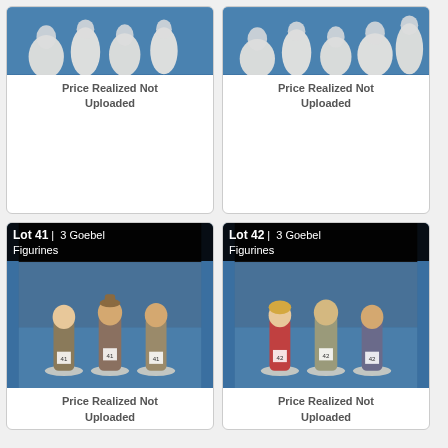[Figure (photo): Partial top view of white/cream ceramic figurines on a blue surface, top of auction lot card]
Price Realized Not Uploaded
[Figure (photo): Partial top view of white/cream ceramic figurines on a blue surface, top of auction lot card]
Price Realized Not Uploaded
[Figure (photo): Lot 41 | 3 Goebel Figurines - photo of three colorful Hummel-style figurines on blue table at auction]
Price Realized Not Uploaded
[Figure (photo): Lot 42 | 3 Goebel Figurines - photo of three colorful Hummel-style figurines on blue table at auction]
Price Realized Not Uploaded